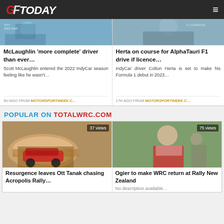GFToday
[Figure (photo): IndyCar photo – top of card, partially cropped]
McLaughlin 'more complete' driver than ever…
Scott McLaughlin entered the 2022 IndyCar season feeling like he wasn't…
5H AGO FROM MOTORSPORTWEEK.C…
[Figure (photo): Driver photo – top of card, partially cropped]
Herta on course for AlphaTauri F1 drive if licence…
IndyCar driver Colton Herta is set to make his Formula 1 debut in 2023…
17H AGO FROM MOTORSPORTWEEK.C…
POPULAR ON TOTALWRC.COM
[Figure (photo): Rally car driving on dusty track – 37 views]
Resurgence leaves Ott Tanak chasing Acropolis Rally…
[Figure (photo): Rally driver portrait – 75 views]
Ogier to make WRC return at Rally New Zealand
No description available…